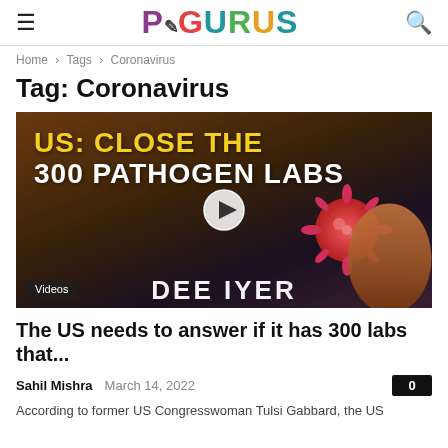PGURUS
Home › Tags › Coronavirus
Tag: Coronavirus
[Figure (photo): Video thumbnail showing text 'US: CLOSE THE 300 PATHOGEN LABS' with a coronavirus particle image and a man's face, with a play button overlay. Bottom left label reads 'Videos'. Partial text at bottom reads 'DEE IYER'.]
The US needs to answer if it has 300 labs that...
Sahil Mishra   March 14, 2022   0
According to former US Congresswoman Tulsi Gabbard, the US